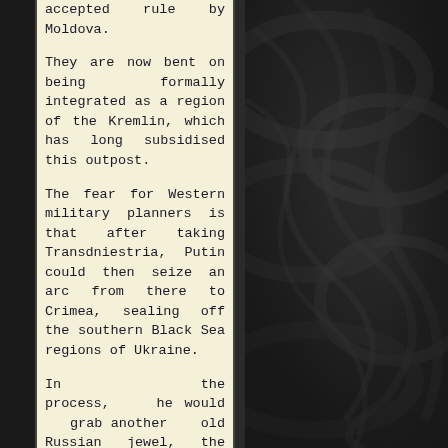accepted rule by Moldova.
They are now bent on being formally integrated as a region of the Kremlin, which has long subsidised this outpost.
The fear for Western military planners is that after taking Transdniestria, Putin could then seize an arc from there to Crimea, sealing off the southern Black Sea regions of Ukraine.
In the process, he would grab another old Russian jewel, the port city of
[Figure (photo): Dark textured background resembling black silk or fabric with folded/draped appearance, occupying the right portion of the page.]